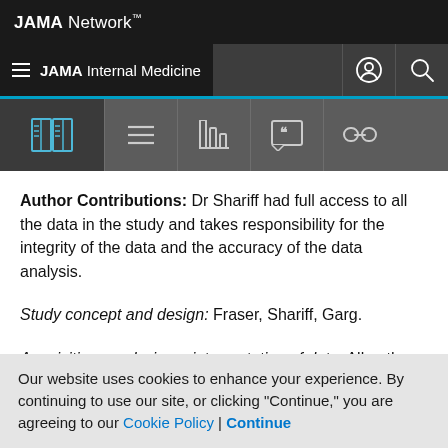JAMA Network
JAMA Internal Medicine
Author Contributions: Dr Shariff had full access to all the data in the study and takes responsibility for the integrity of the data and the accuracy of the data analysis.
Study concept and design: Fraser, Shariff, Garg.
Acquisition, analysis, or interpretation of data: All authors.
Drafting of the manuscript: Fraser.
Our website uses cookies to enhance your experience. By continuing to use our site, or clicking "Continue," you are agreeing to our Cookie Policy | Continue